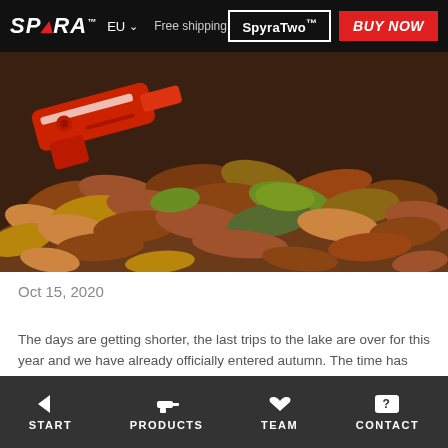SPYRA™ | EU | Free shipping | SpyraTwo™ | BUY NOW
[Figure (photo): A red SpyraOne water blaster resting on a large pile of autumn leaves in shades of brown, orange, and green.]
Oct 15, 2020
The days are getting shorter, the last trips to the lake are over for this year and we have already officially entered autumn. The time has come to winterproof the SpyraOne. But what is the best way to store your SpyraOne in order to fully enjoy it again in 2021? We have created an easy guide with only three steps for you.
START | PRODUCTS | TEAM | CONTACT